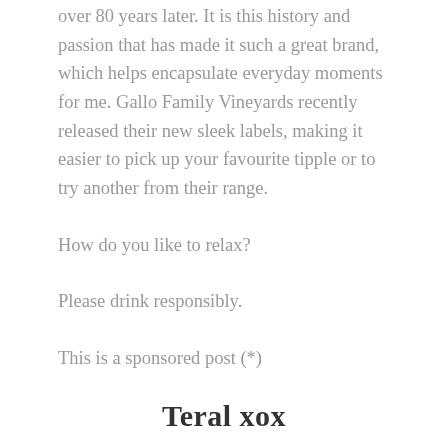over 80 years later. It is this history and passion that has made it such a great brand, which helps encapsulate everyday moments for me. Gallo Family Vineyards recently released their new sleek labels, making it easier to pick up your favourite tipple or to try another from their range.
How do you like to relax?
Please drink responsibly.
This is a sponsored post (*)
Teral xox
instagram | twitter | bloglovin | facebook | youtube